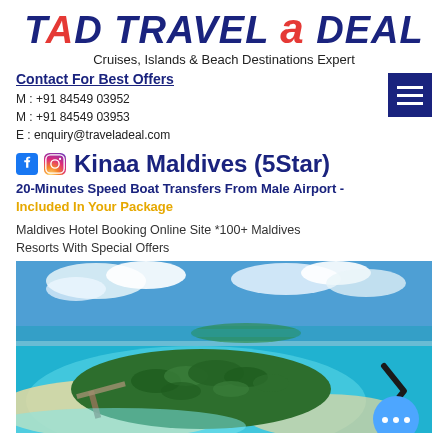TAD TRAVEL a DEAL
Cruises, Islands & Beach Destinations Expert
Contact For Best Offers
M : +91 84549 03952
M : +91 84549 03953
E : enquiry@traveladeal.com
Kinaa Maldives (5Star)
20-Minutes Speed Boat Transfers From Male Airport - Included In Your Package
Maldives Hotel Booking Online Site *100+ Maldives Resorts With Special Offers
[Figure (photo): Aerial view of a Maldives island resort surrounded by turquoise water, with white sandy beaches, lush green palm trees in the center, and an overwater jetty visible on the left side. Blue sky with clouds in the background.]